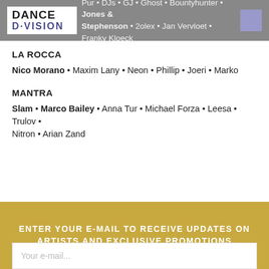DANCE D-VISION • Pur • DJs • GJ • Ghost • Bountyhunter • Jones & Stephenson • 2olex • Jan Vervloet • Franky Kloeck
LA ROCCA
Nico Morano • Maxim Lany • Neon • Phillip • Joeri • Marko
MANTRA
Slam • Marco Bailey • Anna Tur • Michael Forza • Leesa • Trulov • Nitron • Arian Zand
ENTER YOUR E-MAIL TO RECEIVE UPDATES ON ARTISTS AND EXCLUSIVE PROMOTIONS
Your e-mail...